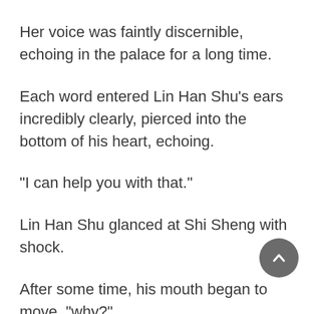Her voice was faintly discernible, echoing in the palace for a long time.
Each word entered Lin Han Shu's ears incredibly clearly, pierced into the bottom of his heart, echoing.
"I can help you with that."
Lin Han Shu glanced at Shi Sheng with shock.
After some time, his mouth began to move, "why?"
"Why?" Shi Sheng's eyes curved into a smile